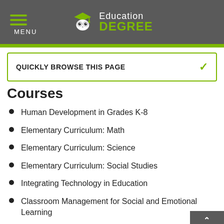MENU | Education DEGREE
QUICKLY BROWSE THIS PAGE
Courses
Human Development in Grades K-8
Elementary Curriculum: Math
Elementary Curriculum: Science
Elementary Curriculum: Social Studies
Integrating Technology in Education
Classroom Management for Social and Emotional Learning
Literacy Instruction for English Language